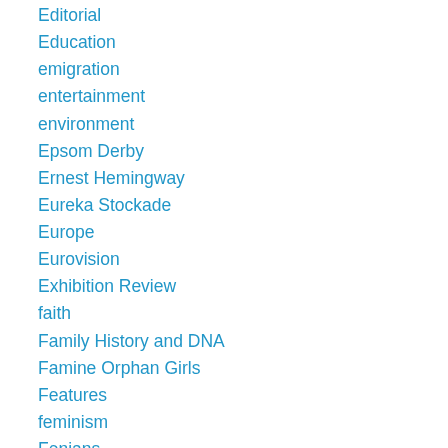Editorial
Education
emigration
entertainment
environment
Epsom Derby
Ernest Hemingway
Eureka Stockade
Europe
Eurovision
Exhibition Review
faith
Family History and DNA
Famine Orphan Girls
Features
feminism
Fenians
Festival
Fiction
film documentary